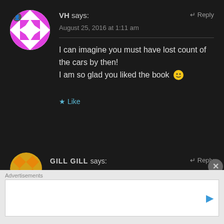VH says: August 25, 2016 at 1:11 am
I can imagine you must have lost count of the cars by then!
I am so glad you liked the book 🙂
Like
GILL GILL says:
Advertisements